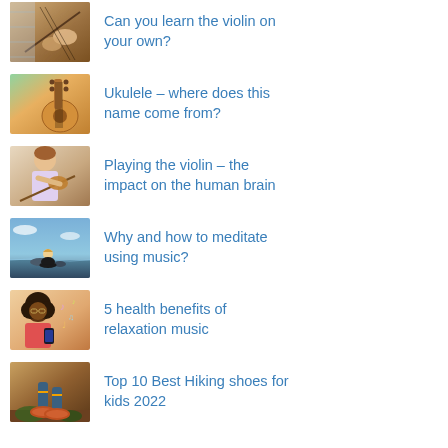Can you learn the violin on your own?
Ukulele – where does this name come from?
Playing the violin – the impact on the human brain
Why and how to meditate using music?
5 health benefits of relaxation music
Top 10 Best Hiking shoes for kids 2022